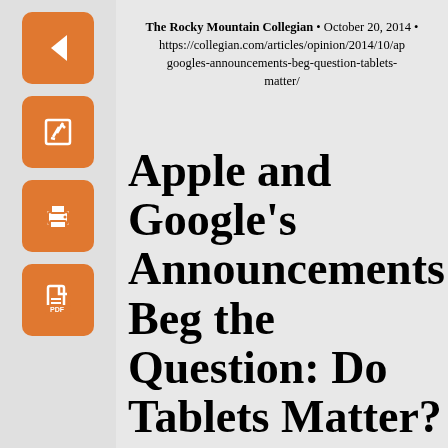[Figure (infographic): Orange sidebar with four icon buttons: back arrow, edit/pencil, print, and PDF/document icons]
The Rocky Mountain Collegian • October 20, 2014 • https://collegian.com/articles/opinion/2014/10/ap googles-announcements-beg-question-tablets-matter/
Apple and Google's Announcements Beg the Question: Do Tablets Matter?